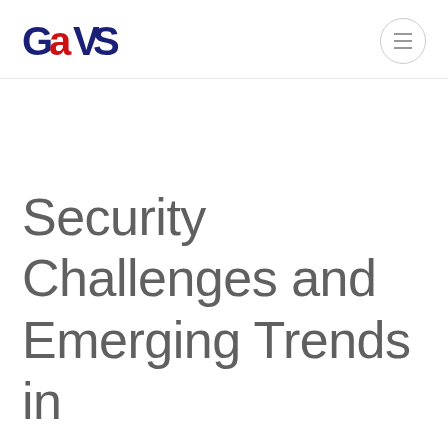GAVS
Security Challenges and Emerging Trends in